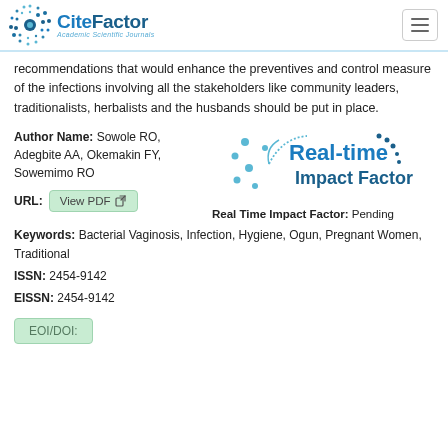CiteFactor Academic Scientific Journals
recommendations that would enhance the preventives and control measure of the infections involving all the stakeholders like community leaders, traditionalists, herbalists and the husbands should be put in place.
Author Name: Sowole RO, Adegbite AA, Okemakin FY, Sowemimo RO
[Figure (logo): Real-time Impact Factor logo with circular dot pattern and teal text]
URL: View PDF
Real Time Impact Factor: Pending
Keywords: Bacterial Vaginosis, Infection, Hygiene, Ogun, Pregnant Women, Traditional
ISSN: 2454-9142
EISSN: 2454-9142
EOI/DOI: